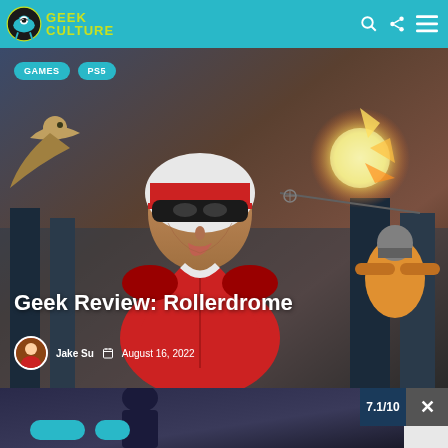Geek Culture
[Figure (illustration): Comic-style illustration of a female roller derby athlete in a white helmet with black visor, wearing a red jacket, looking intensely forward. Background shows action scenes with explosions and other characters.]
GAMES
PS5
Geek Review: Rollerdrome
Jake Su  August 16, 2022
[Figure (screenshot): Partial second screenshot with score badge showing 7.1/10 and a close (X) button overlay.]